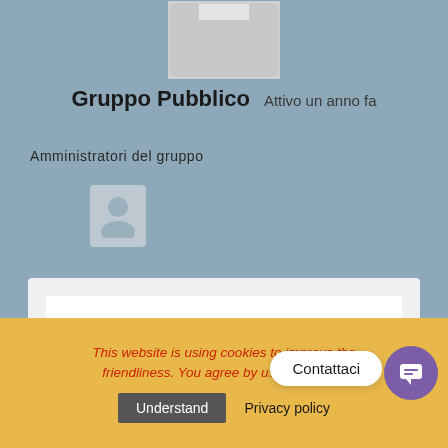[Figure (screenshot): Profile image placeholder (grey rectangle with notch at top)]
Gruppo Pubblico   Attivo un anno fa
Amministratori del gruppo
[Figure (illustration): User avatar silhouette placeholder icon]
CLICK HERE >>> No deposit bonus for bitstarz casino
This website is using cookies to improve the friendliness. You agree by using the site.
Contattaci
Understand
Privacy policy